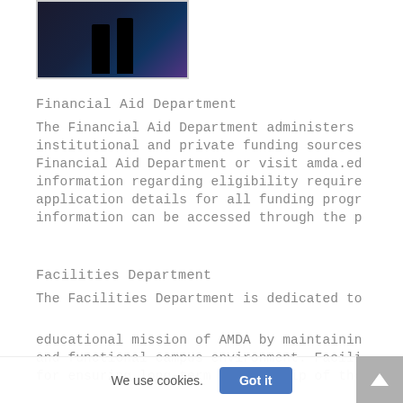[Figure (photo): Photo of performers on a dark stage, silhouettes visible]
Financial Aid Department
The Financial Aid Department administers institutional and private funding sources Financial Aid Department or visit amda.ed information regarding eligibility require application details for all funding progr information can be accessed through the p
Facilities Department
The Facilities Department is dedicated to
educational mission of AMDA by maintainin and functional campus environment. Facili for ensuring long-term stewardship of the
We use cookies.
Got it